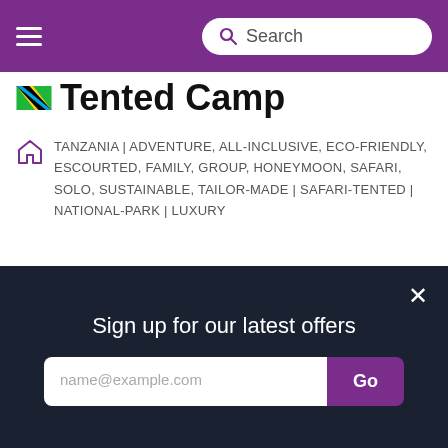≡  Search
Tented Camp
TANZANIA | ADVENTURE, ALL-INCLUSIVE, ECO-FRIENDLY, ESCOURTED, FAMILY, GROUP, HONEYMOON, SAFARI, SOLO, SUSTAINABLE, TAILOR-MADE | SAFARI-TENTED | NATIONAL-PARK | LUXURY
[Figure (photo): Group of people including a Maasai guide in red shuka, viewed from behind, looking out over a golden savanna landscape with hills and blue sky in the background.]
Sign up for our latest offers
name@example.com
Go